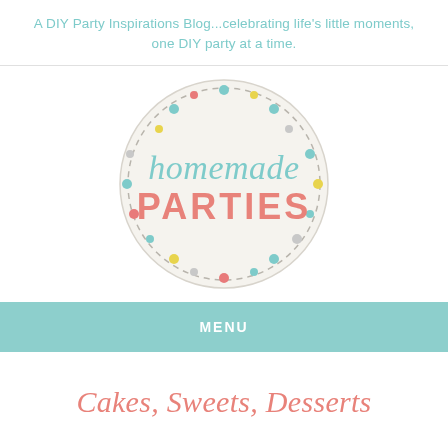A DIY Party Inspirations Blog...celebrating life's little moments, one DIY party at a time.
[Figure (logo): Homemade Parties circular logo with dashed border, colorful dots, 'homemade' in teal script and 'PARTIES' in coral bold text on cream background]
MENU
Cakes, Sweets, Desserts